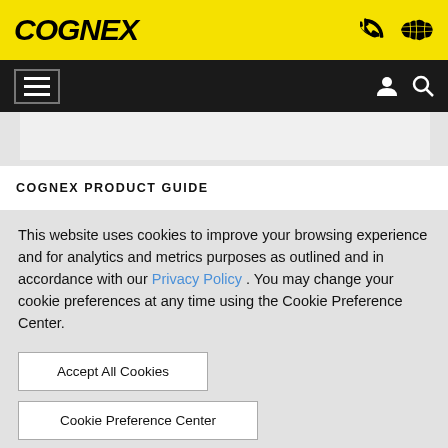COGNEX
[Figure (screenshot): Cognex website navigation bar with yellow top bar showing COGNEX logo, phone icon, world map icon; black nav bar with hamburger menu, user icon, search icon]
COGNEX PRODUCT GUIDE
This website uses cookies to improve your browsing experience and for analytics and metrics purposes as outlined and in accordance with our Privacy Policy . You may change your cookie preferences at any time using the Cookie Preference Center.
Accept All Cookies
Cookie Preference Center